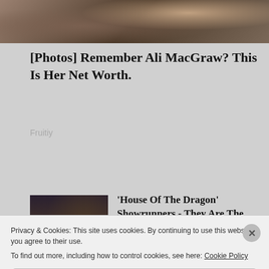[Figure (photo): Top portion of a photo showing a person wearing jewelry, cropped]
[Photos] Remember Ali MacGraw? This Is Her Net Worth.
Fruitiy
[Figure (photo): Scene from House of the Dragon showing characters on throne]
'House Of The Dragon' Showrunners - They Are The Only Survivors
Shadow and Act
[Figure (photo): Grocery store interior with shoppers]
$900 Grocery Allowance For Seniors On Medicare
Privacy & Cookies: This site uses cookies. By continuing to use this website, you agree to their use.
To find out more, including how to control cookies, see here: Cookie Policy
Close and accept